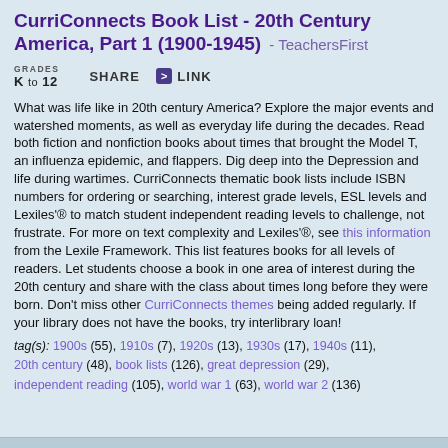CurriConnects Book List - 20th Century America, Part 1 (1900-1945) - TeachersFirst
GRADES K TO 12   SHARE   > LINK
What was life like in 20th century America? Explore the major events and watershed moments, as well as everyday life during the decades. Read both fiction and nonfiction books about times that brought the Model T, an influenza epidemic, and flappers. Dig deep into the Depression and life during wartimes. CurriConnects thematic book lists include ISBN numbers for ordering or searching, interest grade levels, ESL levels and Lexiles'® to match student independent reading levels to challenge, not frustrate. For more on text complexity and Lexiles'®, see this information from the Lexile Framework. This list features books for all levels of readers. Let students choose a book in one area of interest during the 20th century and share with the class about times long before they were born. Don't miss other CurriConnects themes being added regularly. If your library does not have the books, try interlibrary loan!
tag(s): 1900s (55), 1910s (7), 1920s (13), 1930s (17), 1940s (11), 20th century (48), book lists (126), great depression (29), independent reading (105), world war 1 (63), world war 2 (136)